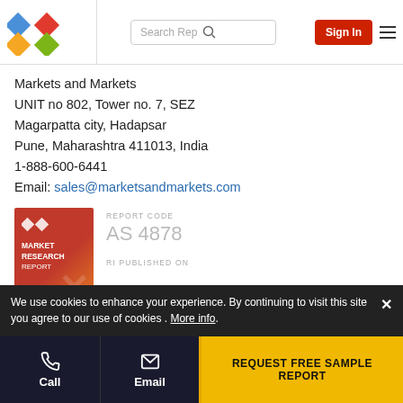Markets and Markets — navigation bar with logo, search, sign in
Markets and Markets
UNIT no 802, Tower no. 7, SEZ
Magarpatta city, Hadapsar
Pune, Maharashtra 411013, India
1-888-600-6441
Email: sales@marketsandmarkets.com
[Figure (illustration): Market Research Report book cover in red/orange gradient with diamond logo and title text]
REPORT CODE
AS 4878
RI PUBLISHED ON
We use cookies to enhance your experience. By continuing to visit this site you agree to our use of cookies . More info.
Call   Email   REQUEST FREE SAMPLE REPORT